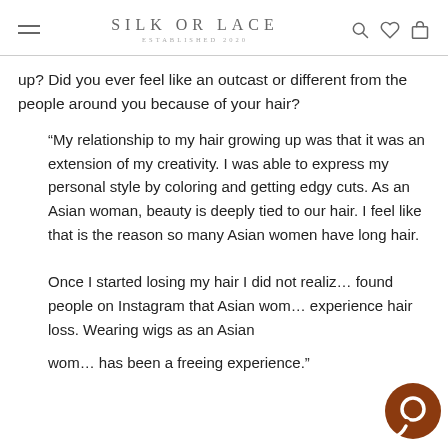SILK OR LACE — ESTABLISHED 2020
up? Did you ever feel like an outcast or different from the people around you because of your hair?
“My relationship to my hair growing up was that it was an extension of my creativity. I was able to express my personal style by coloring and getting edgy cuts. As an Asian woman, beauty is deeply tied to our hair. I feel like that is the reason so many Asian women have long hair.
Once I started losing my hair I did not realiz… found people on Instagram that Asian wom… experience hair loss. Wearing wigs as an Asian wom… has been a freeing experience.”